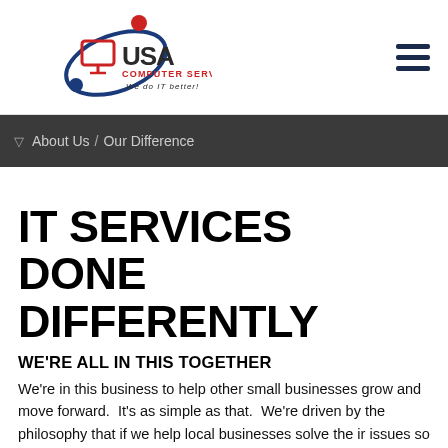[Figure (logo): USA Computer Services logo with blue orbit arcs, red dot, red monitor icon, and text 'USA COMPUTER SERVICES - We do IT better!']
About Us / Our Difference
IT SERVICES DONE DIFFERENTLY
WE'RE ALL IN THIS TOGETHER
We're in this business to help other small businesses grow and move forward.  It's as simple as that.  We're driven by the philosophy that if we help local businesses solve their issues so they can become more profitable and successful, then we will inherently grow along with them.  There is no